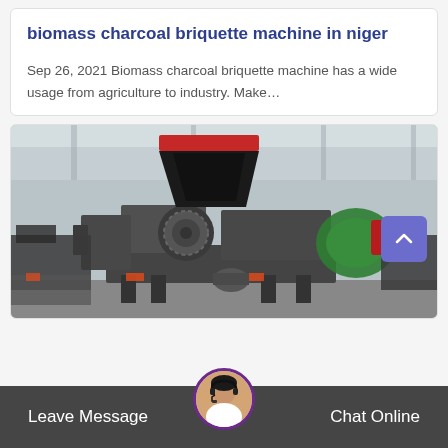biomass charcoal briquette machine in niger
Sep 26, 2021 Biomass charcoal briquette machine has a wide usage from agriculture to industry. Make…
[Figure (photo): Large industrial biomass charcoal briquette machine in a factory/warehouse setting. The machine is dark grey/black with a red-topped hopper funnel on top, and a green component visible on the right side. Multiple similar machines are visible in the background.]
Leave Message
Chat Online